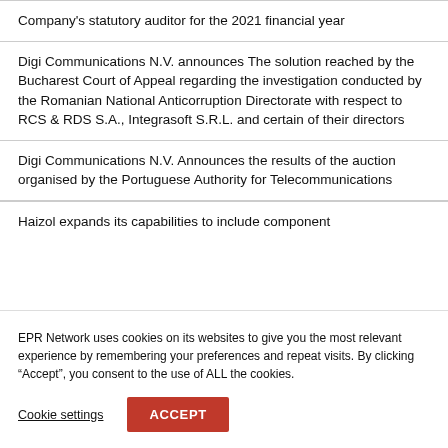Company's statutory auditor for the 2021 financial year
Digi Communications N.V. announces The solution reached by the Bucharest Court of Appeal regarding the investigation conducted by the Romanian National Anticorruption Directorate with respect to RCS & RDS S.A., Integrasoft S.R.L. and certain of their directors
Digi Communications N.V. Announces the results of the auction organised by the Portuguese Authority for Telecommunications
Haizol expands its capabilities to include component
EPR Network uses cookies on its websites to give you the most relevant experience by remembering your preferences and repeat visits. By clicking “Accept”, you consent to the use of ALL the cookies.
Cookie settings
ACCEPT